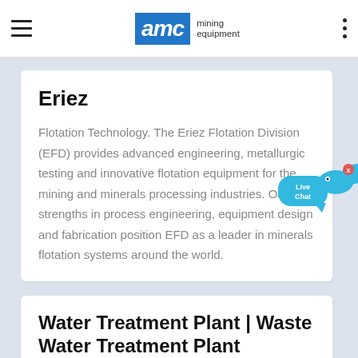AMC mining equipment
Eriez
Flotation Technology. The Eriez Flotation Division (EFD) provides advanced engineering, metallurgic testing and innovative flotation equipment for the mining and minerals processing industries. Our strengths in process engineering, equipment design and fabrication position EFD as a leader in minerals flotation systems around the world.
[Figure (illustration): Live Chat speech bubble widget with fish icon and close button]
Water Treatment Plant | Waste Water Treatment Plant